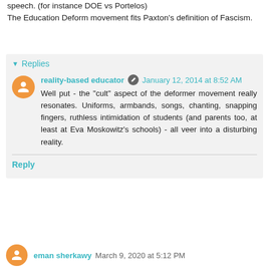speech. (for instance DOE vs Portelos)
The Education Deform movement fits Paxton's definition of Fascism.
Reply
▾ Replies
reality-based educator  January 12, 2014 at 8:52 AM
Well put - the "cult" aspect of the deformer movement really resonates. Uniforms, armbands, songs, chanting, snapping fingers, ruthless intimidation of students (and parents too, at least at Eva Moskowitz's schools) - all veer into a disturbing reality.
Reply
eman sherkawy  March 9, 2020 at 5:12 PM